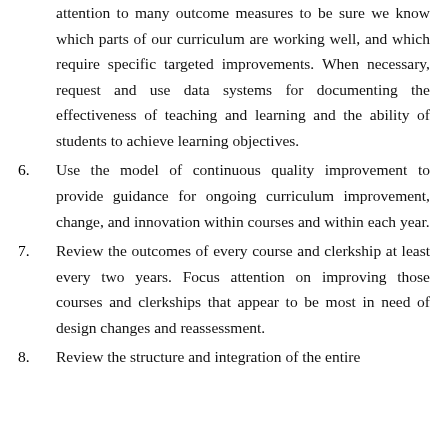(continuation) ...identify, evaluate weaknesses. Pay close attention to many outcome measures to be sure we know which parts of our curriculum are working well, and which require specific targeted improvements. When necessary, request and use data systems for documenting the effectiveness of teaching and learning and the ability of students to achieve learning objectives.
6. Use the model of continuous quality improvement to provide guidance for ongoing curriculum improvement, change, and innovation within courses and within each year.
7. Review the outcomes of every course and clerkship at least every two years. Focus attention on improving those courses and clerkships that appear to be most in need of design changes and reassessment.
8. Review the structure and integration of the entire